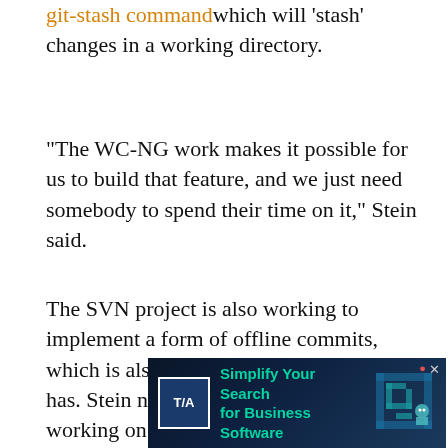git-stash command which will 'stash' changes in a working directory.
“The WC-NG work makes it possible for us to build that feature, and we just need somebody to spend their time on it,” Stein said.
The SVN project is also working to implement a form of offline commits, which is also something that Git currently has. Stein noted that the SVN project is working on a similar feature called “checkpoints” which is also enabled by WC-NG.
“Git is still a very fast tool, we’ve made some great improvements, but I don’t think we’ll ever be as fast,” Stein said. “Git’s underlying model of whole-repository has so... ...s a lot of thi...
[Figure (other): Advertisement banner: 'Simplify Your Search for Business Software' with a maze graphic and logo, overlaid on the bottom-right of the page content.]